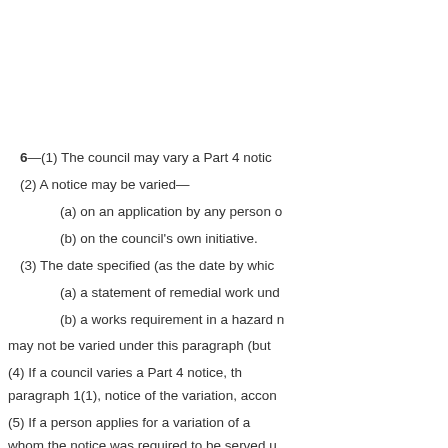6—(1) The council may vary a Part 4 notic...
(2) A notice may be varied—
(a)  on an application by any person d...
(b)  on the council's own initiative.
(3) The date specified (as the date by whic...
(a)  a statement of remedial work und...
(b)  a works requirement in a hazard n...
may not be varied under this paragraph (but...
(4) If a council varies a Part 4 notice, th... paragraph 1(1), notice of the variation, accor...
(5) If a person applies for a variation of a... whom the notice was required to be served u...
(6) If a notice is varied with the agreeme... variation has effect from the date on which it...
(7) Otherwise a variation does not have ef...